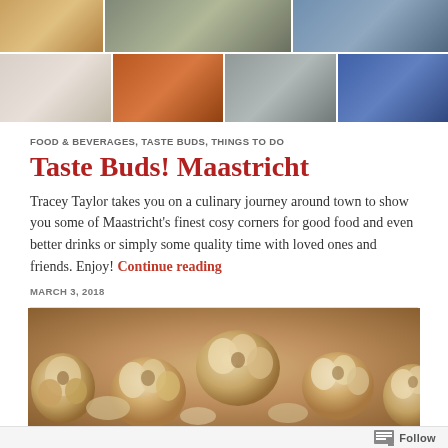[Figure (photo): Grid of food and restaurant/city photos - top row showing dishes and a person eating]
[Figure (photo): Grid of restaurant interior, chandelier, building facade, and architectural photos - second row]
FOOD & BEVERAGES, TASTE BUDS, THINGS TO DO
Taste Buds! Maastricht
Tracey Taylor takes you on a culinary journey around town to show you some of Maastricht's finest cosy corners for good food and even better drinks or simply some quality time with loved ones and friends. Enjoy! Continue reading
MARCH 3, 2018
[Figure (photo): Close-up photo of roasted garlic bulbs on a baking tray]